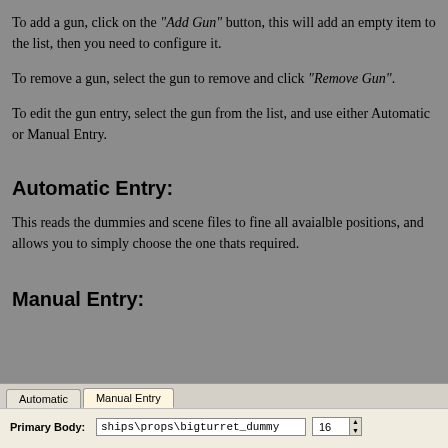To add a gun, click on the "Add Gun" button, this will add an empty item to the list, then you need to configure it.
To remove a gun, select the gun to remove and click "Remove Gun".
To edit the gun entry, select the gun from the list, and use either Automatic or Manual Entry.
Automatic Entry:
This reads the dummies and scene files to fine all avaialble positions, and allows you to simply choose the one thats required.
Manual Entry:
[Figure (screenshot): A UI panel showing two tabs: 'Automatic' and 'Manual Entry' (active). The panel body shows a field 'Primary Body:' with value 'ships\props\bigturret_dummy' and a spin control showing '16'.]